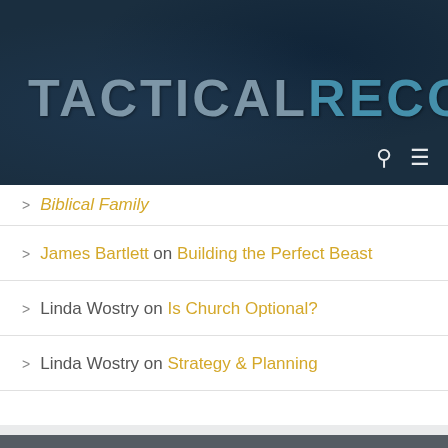[Figure (logo): TacticalRecon website header logo with dark blue textured background. 'TACTICAL' in gray distressed font and 'RECON' in light blue distressed font, with search and hamburger menu icons.]
Biblical Family (link, partial/cut off at top)
James Bartlett on Building the Perfect Beast
Linda Wostry on Is Church Optional?
Linda Wostry on Strategy & Planning